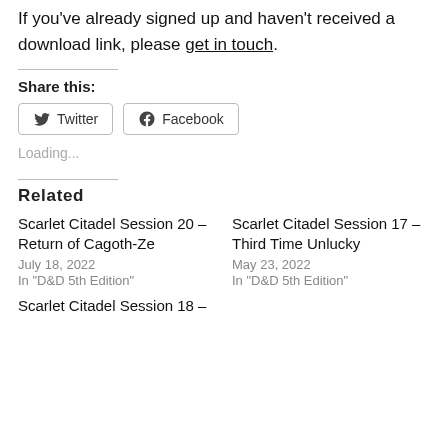If you've already signed up and haven't received a download link, please get in touch.
Share this:
Twitter  Facebook
Loading...
Related
Scarlet Citadel Session 20 – Return of Cagoth-Ze
July 18, 2022
In "D&D 5th Edition"
Scarlet Citadel Session 17 – Third Time Unlucky
May 23, 2022
In "D&D 5th Edition"
Scarlet Citadel Session 18 –